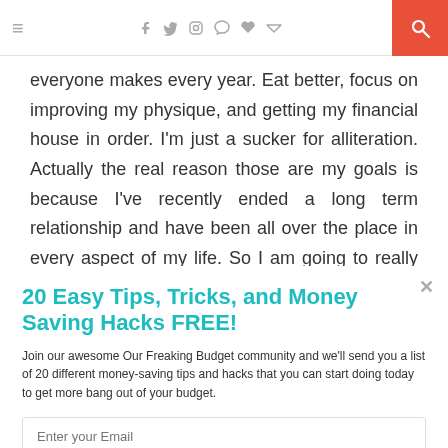≡  f  ✓  ☷  ℗  ♥  ⌗  🔍
everyone makes every year. Eat better, focus on improving my physique, and getting my financial house in order. I'm just a sucker for alliteration. Actually the real reason those are my goals is because I've recently ended a long term relationship and have been all over the place in every aspect of my life. So I am going to really *Focus on Food, Fitness, and Finance*. I love alliteration.
20 Easy Tips, Tricks, and Money Saving Hacks FREE!
Join our awesome Our Freaking Budget community and we'll send you a list of 20 different money-saving tips and hacks that you can start doing today to get more bang out of your budget.
Enter your Email
Sign Me Up!